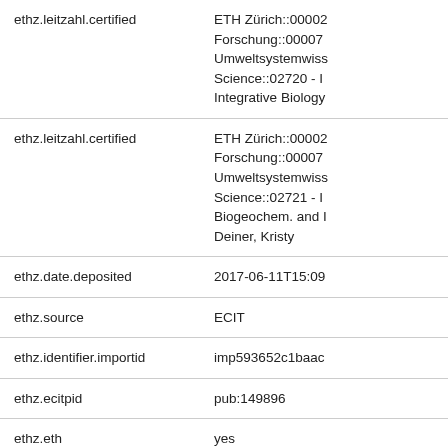| Field | Value |
| --- | --- |
| ethz.leitzahl.certified | ETH Zürich::00002
Forschung::00007
Umweltsystemwiss
Science::02720 - I
Integrative Biology |
| ethz.leitzahl.certified | ETH Zürich::00002
Forschung::00007
Umweltsystemwiss
Science::02721 - I
Biogeochem. and I
Deiner, Kristy |
| ethz.date.deposited | 2017-06-11T15:09 |
| ethz.source | ECIT |
| ethz.identifier.importid | imp593652c1baac |
| ethz.ecitpid | pub:149896 |
| ethz.eth | yes |
| ethz.availability | Metadata only |